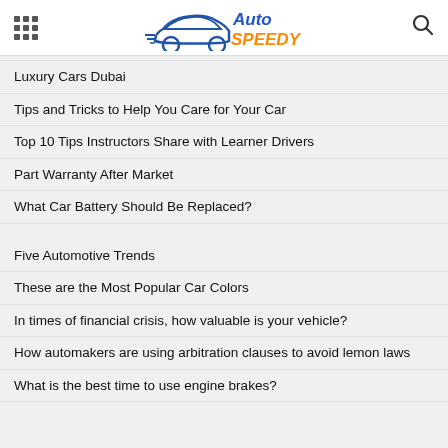Auto Speedy
Luxury Cars Dubai
Tips and Tricks to Help You Care for Your Car
Top 10 Tips Instructors Share with Learner Drivers
Part Warranty After Market
What Car Battery Should Be Replaced?
Five Automotive Trends
These are the Most Popular Car Colors
In times of financial crisis, how valuable is your vehicle?
How automakers are using arbitration clauses to avoid lemon laws
What is the best time to use engine brakes?